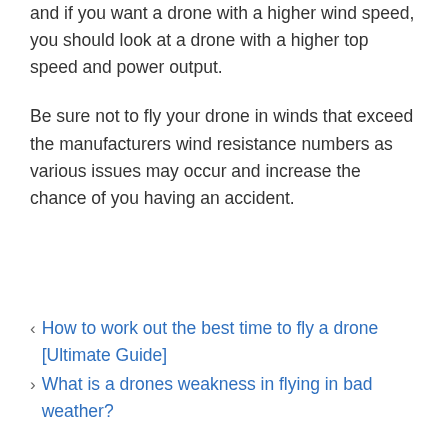and if you want a drone with a higher wind speed, you should look at a drone with a higher top speed and power output.
Be sure not to fly your drone in winds that exceed the manufacturers wind resistance numbers as various issues may occur and increase the chance of you having an accident.
< How to work out the best time to fly a drone [Ultimate Guide]
> What is a drones weakness in flying in bad weather?